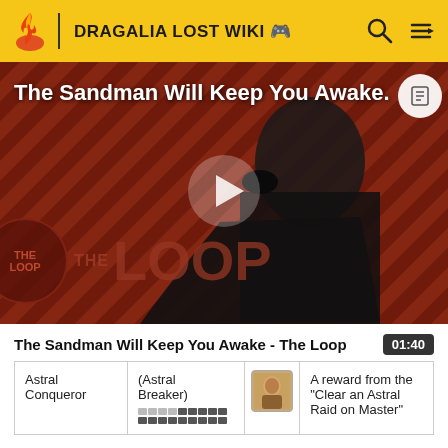DRAGALIA LOST WIKI
[Figure (screenshot): Video thumbnail showing a dark figure in a black cape against a red diagonal striped background, with 'The Sandman Will Keep You Awake.' title overlay, a play button in the center, and 'THE LOOP' branding in the lower left.]
The Sandman Will Keep You Awake - The Loop
| Astral Conqueror | (Astral Breaker) [progress bars] | [icon] | A reward from the "Clear an Astral Raid on Master" |